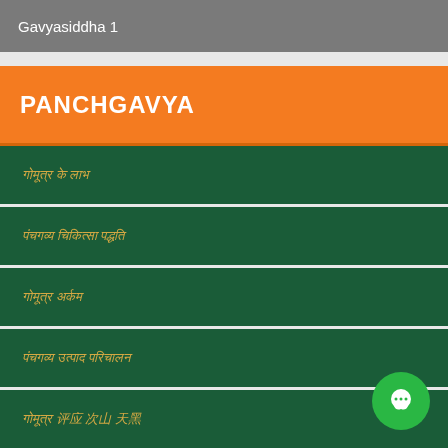Gavyasiddha 1
PANCHGAVYA
गोमूत्र के लाभ
पंचगव्य चिकित्सा पद्धति
गोमूत्र अर्कम
पंचगव्य उत्पाद परिचालन
गोमूत्र एवं स्वास्थ्य
गोमूत्र एवं कृषि
गाय दूध महत्व